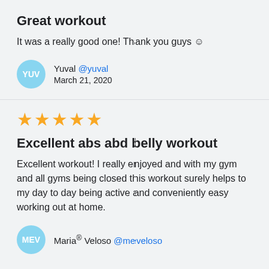Great workout
It was a really good one! Thank you guys ☺
Yuval @yuval
March 21, 2020
★★★★★
Excellent abs abd belly workout
Excellent workout! I really enjoyed and with my gym and all gyms being closed this workout surely helps to my day to day being active and conveniently easy working out at home.
Mariaᵉ Veloso @meveloso